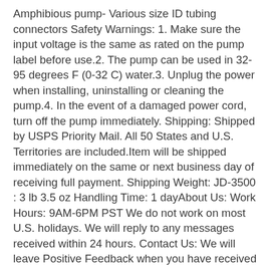Amphibious pump- Various size ID tubing connectors Safety Warnings: 1. Make sure the input voltage is the same as rated on the pump label before use.2. The pump can be used in 32-95 degrees F (0-32 C) water.3. Unplug the power when installing, uninstalling or cleaning the pump.4. In the event of a damaged power cord, turn off the pump immediately. Shipping: Shipped by USPS Priority Mail. All 50 States and U.S. Territories are included.Item will be shipped immediately on the same or next business day of receiving full payment. Shipping Weight: JD-3500 : 3 lb 3.5 oz Handling Time: 1 dayAbout Us: Work Hours: 9AM-6PM PST We do not work on most U.S. holidays. We will reply to any messages received within 24 hours. Contact Us: We will leave Positive Feedback when you have received your item or when you leave us Positive Feedback. Please do not forget to give us Positive